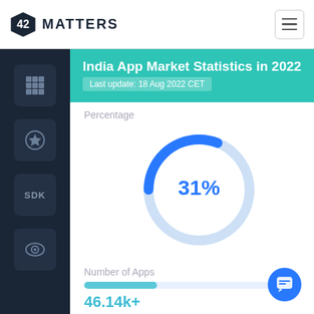[Figure (logo): 42 Matters logo with stylized diamond/shield icon and text MATTERS]
India App Market Statistics in 2022
Last update: 18 Aug 2022 CET
Percentage
[Figure (donut-chart): Percentage]
Number of Apps
46.14k+